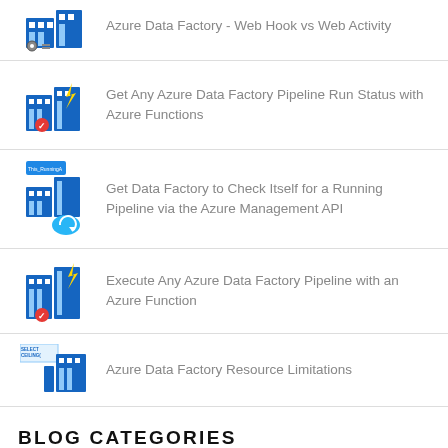Azure Data Factory - Web Hook vs Web Activity
Get Any Azure Data Factory Pipeline Run Status with Azure Functions
Get Data Factory to Check Itself for a Running Pipeline via the Azure Management API
Execute Any Azure Data Factory Pipeline with an Azure Function
Azure Data Factory Resource Limitations
BLOG CATEGORIES
Azure (105)